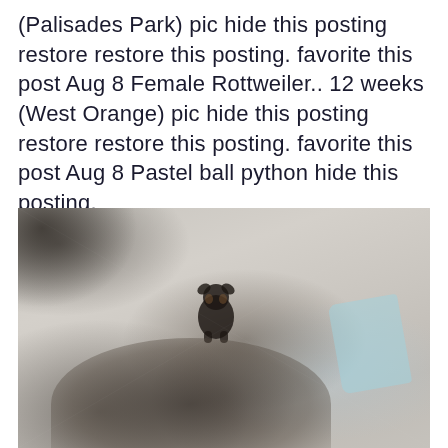(Palisades Park) pic hide this posting restore restore this posting. favorite this post Aug 8 Female Rottweiler.. 12 weeks (West Orange) pic hide this posting restore restore this posting. favorite this post Aug 8 Pastel ball python hide this posting.
[Figure (photo): A faded, washed-out outdoor photo showing a small black Rottweiler puppy in the center on a light concrete/ground surface, a blue cloth or towel on the right side, and the head of a larger dark dog visible at the bottom of the frame. The upper-left corner shows dark foliage or shadow.]